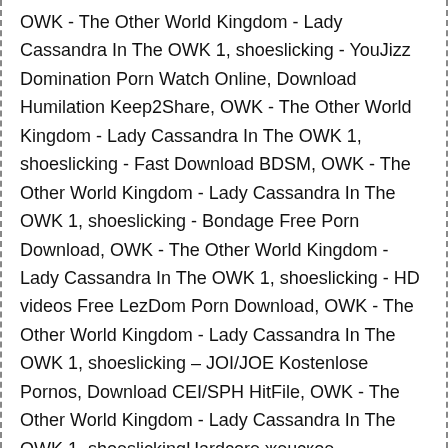OWK - The Other World Kingdom - Lady Cassandra In The OWK 1, shoeslicking - YouJizz Domination Porn Watch Online, Download Humilation Keep2Share, OWK - The Other World Kingdom - Lady Cassandra In The OWK 1, shoeslicking - Fast Download BDSM, OWK - The Other World Kingdom - Lady Cassandra In The OWK 1, shoeslicking - Bondage Free Porn Download, OWK - The Other World Kingdom - Lady Cassandra In The OWK 1, shoeslicking - HD videos Free LezDom Porn Download, OWK - The Other World Kingdom - Lady Cassandra In The OWK 1, shoeslicking – JOI/JOE Kostenlose Pornos, Download CEI/SPH HitFile, OWK - The Other World Kingdom - Lady Cassandra In The OWK 1, shoeslickingHardcore женское доминирование скачать, OWK - The Other World Kingdom - Lady Cassandra In The OWK 1, shoeslickingReality скачать бесплатно унижение, FBoom.me links, OWK - The Other World Kingdom -